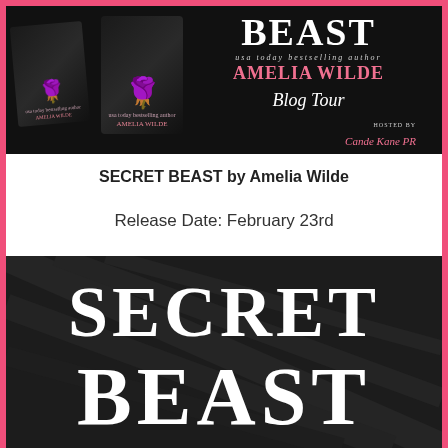[Figure (illustration): Blog Tour banner for 'Secret Beast' by Amelia Wilde. Black background with book cover images on the left showing roses, and text on the right: BEAST, usa today bestselling author, AMELIA WILDE, Blog Tour, Hosted by Cande Kane PR.]
SECRET BEAST by Amelia Wilde
Release Date: February 23rd
[Figure (photo): Black textured background with large white serif text reading 'SECRET BEAST' in two lines, styled as a book cover or promotional image.]